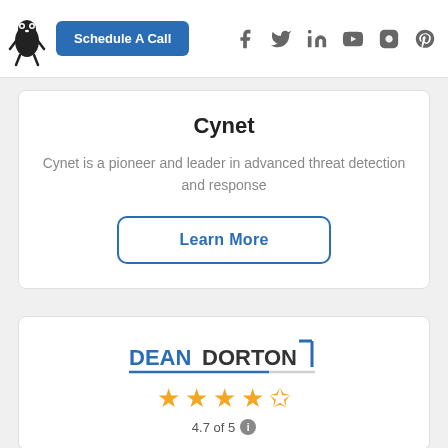Schedule A Call
Cynet
Cynet is a pioneer and leader in advanced threat detection and response
Learn More
[Figure (logo): DEANDORTON logo with bracket and underline]
4.7 of 5